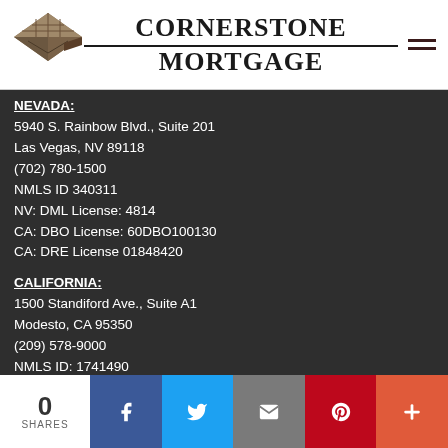[Figure (logo): Cornerstone Mortgage logo with stone/brick graphic and company name]
NEVADA:
5940 S. Rainbow Blvd., Suite 201
Las Vegas, NV 89118
(702) 780-1500
NMLS ID 340311
NV: DML License: 4814
CA: DBO License: 60DBO100130
CA: DRE License 01848420
CALIFORNIA:
1500 Standiford Ave., Suite A1
Modesto, CA 95350
(209) 578-9000
NMLS ID: 1741490
CalDRE License: 01848420
0
SHARES